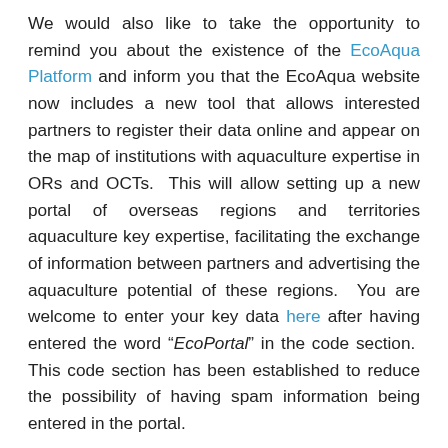We would also like to take the opportunity to remind you about the existence of the EcoAqua Platform and inform you that the EcoAqua website now includes a new tool that allows interested partners to register their data online and appear on the map of institutions with aquaculture expertise in ORs and OCTs. This will allow setting up a new portal of overseas regions and territories aquaculture key expertise, facilitating the exchange of information between partners and advertising the aquaculture potential of these regions. You are welcome to enter your key data here after having entered the word “EcoPortal” in the code section. This code section has been established to reduce the possibility of having spam information being entered in the portal.